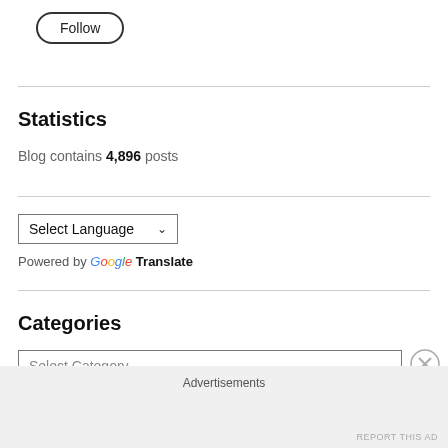[Figure (other): Follow button with rounded pill border]
Statistics
Blog contains 4,896 posts
[Figure (other): Select Language dropdown with Google Translate attribution]
Categories
[Figure (other): Select Category dropdown]
Advertisements
REPORT THIS AD